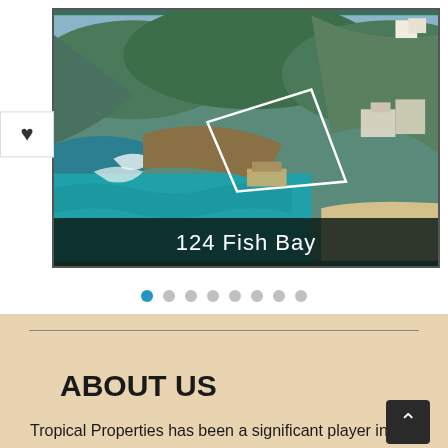[Figure (photo): Aerial coastal drone photo of 124 Fish Bay property with turquoise water, rocky coastline, hillside vegetation, and white property boundary lines overlaid on the land parcel]
124 Fish Bay
Tropical Properties has been a significant player in the St. John Real Estate market for over 35 years and w continue to be a dynamic force of experts comprises